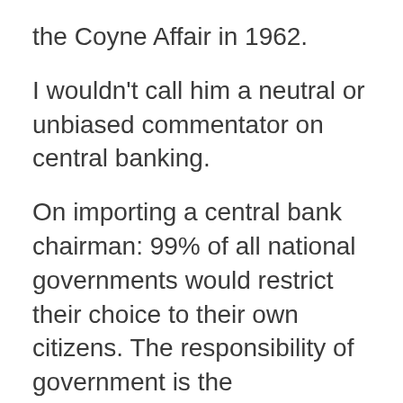the Coyne Affair in 1962.
I wouldn't call him a neutral or unbiased commentator on central banking.
On importing a central bank chairman: 99% of all national governments would restrict their choice to their own citizens. The responsibility of government is the responsibility of the citizenry, most countries see it as entirely appropriate that a citizen is responsible for directing national policy.
Central Bank independence is and should be a tenuous